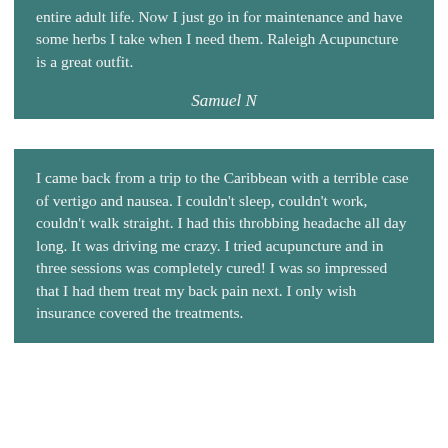entire adult life.  Now I just go in for maintenance and have some herbs I take when I need them.  Raleigh Acupuncture is a great outfit.
Samuel N
I came back from a trip to the Caribbean with a terrible case of vertigo and nausea.  I couldn't sleep, couldn't work, couldn't walk straight.  I had this throbbing headache all day long.  It was driving me crazy.  I tried acupuncture and in three sessions was completely cured!  I was so impressed that I had them treat my back pain next.  I only wish insurance covered the treatments.